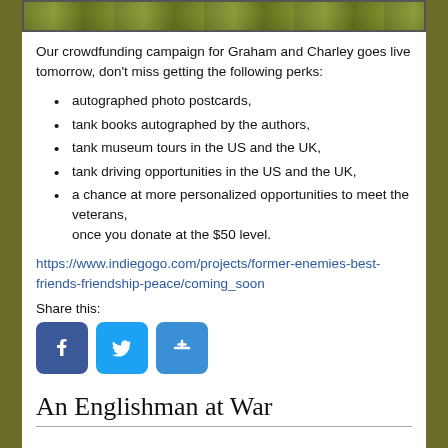[Figure (photo): Cropped photo strip showing outdoor scene with people and grass background]
Our crowdfunding campaign for Graham and Charley goes live tomorrow, don't miss getting the following perks:
autographed photo postcards,
tank books autographed by the authors,
tank museum tours in the US and the UK,
tank driving opportunities in the US and the UK,
a chance at more personalized opportunities to meet the veterans, once you donate at the $50 level.
https://www.indiegogo.com/projects/former-enemies-best-friends-friendship-peace/coming_soon
Share this:
[Figure (illustration): Three social media share buttons: Facebook, Twitter, and a plus/share button]
An Englishman at War